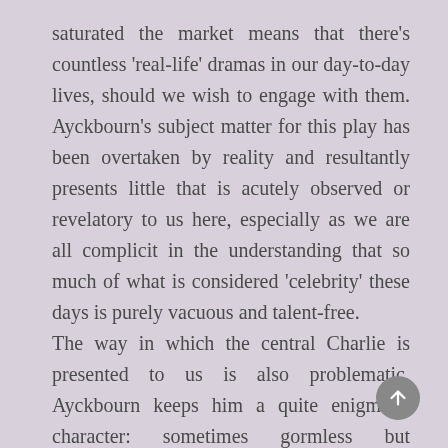saturated the market means that there's countless 'real-life' dramas in our day-to-day lives, should we wish to engage with them. Ayckbourn's subject matter for this play has been overtaken by reality and resultantly presents little that is acutely observed or revelatory to us here, especially as we are all complicit in the understanding that so much of what is considered 'celebrity' these days is purely vacuous and talent-free. The way in which the central Charlie is presented to us is also problematic. Ayckbourn keeps him a quite enigmatic character: sometimes gormless but essentially kind-hearted and a victim of circumstance beyond his control, he is also sometimes much more of a calculating player, fully